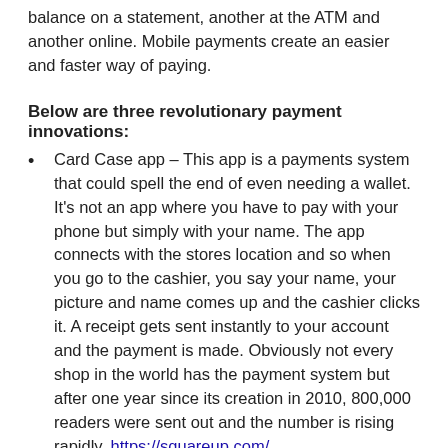balance on a statement, another at the ATM and another online. Mobile payments create an easier and faster way of paying.
Below are three revolutionary payment innovations:
Card Case app – This app is a payments system that could spell the end of even needing a wallet. It's not an app where you have to pay with your phone but simply with your name. The app connects with the stores location and so when you go to the cashier, you say your name, your picture and name comes up and the cashier clicks it. A receipt gets sent instantly to your account and the payment is made. Obviously not every shop in the world has the payment system but after one year since its creation in 2010, 800,000 readers were sent out and the number is rising rapidly. https://squareup.com/
TransferWise – This peer-to-peer payment